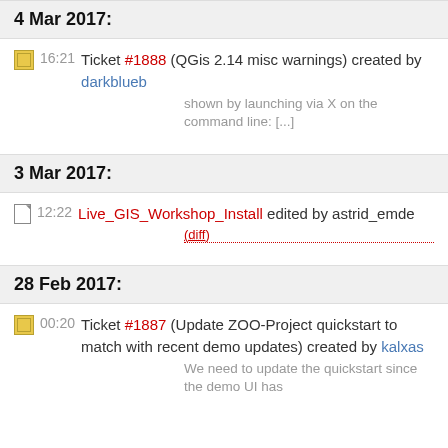4 Mar 2017:
16:21 Ticket #1888 (QGis 2.14 misc warnings) created by darkblueb
shown by launching via X on the command line: [...]
3 Mar 2017:
12:22 Live_GIS_Workshop_Install edited by astrid_emde
(diff)
28 Feb 2017:
00:20 Ticket #1887 (Update ZOO-Project quickstart to match with recent demo updates) created by kalxas
We need to update the quickstart since the demo UI has